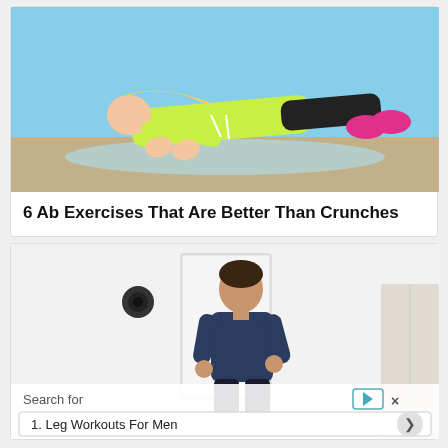[Figure (photo): Woman in neon yellow hoodie doing a plank exercise on a mat outdoors at the beach]
6 Ab Exercises That Are Better Than Crunches
[Figure (photo): Woman in dark blue t-shirt standing indoors with a search advertisement overlay showing 'Leg Workouts For Men']